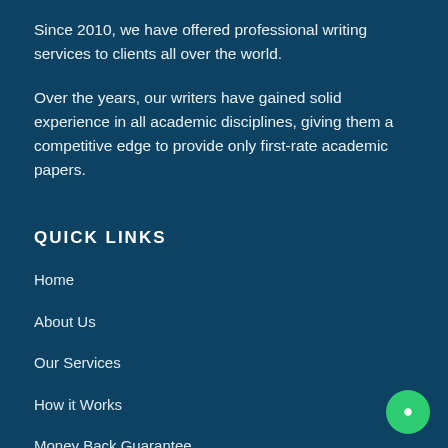Since 2010, we have offered professional writing services to clients all over the world.
Over the years, our writers have gained solid experience in all academic disciplines, giving them a competitive edge to provide only first-rate academic papers.
QUICK LINKS
Home
About Us
Our Services
How it Works
Money Back Guarantee
Terms and Conditions